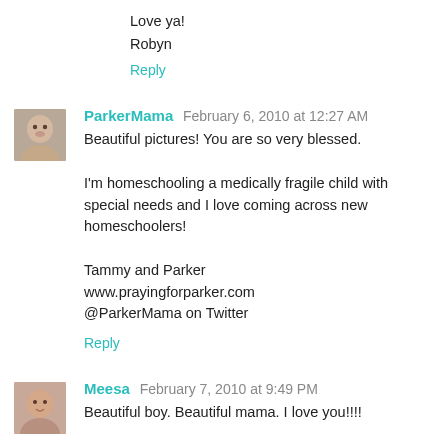Love ya!
Robyn
Reply
ParkerMama  February 6, 2010 at 12:27 AM
Beautiful pictures! You are so very blessed.

I'm homeschooling a medically fragile child with special needs and I love coming across new homeschoolers!

Tammy and Parker
www.prayingforparker.com
@ParkerMama on Twitter
Reply
Meesa  February 7, 2010 at 9:49 PM
Beautiful boy. Beautiful mama. I love you!!!!